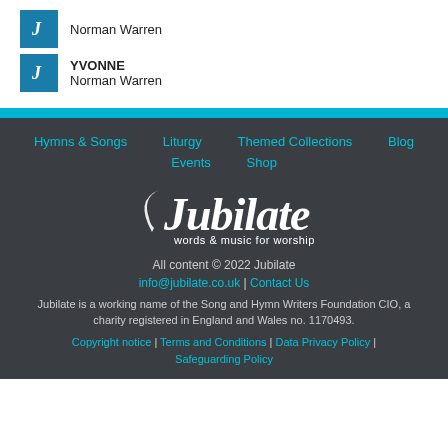[Figure (logo): Jubilate icon (blue square with white music note J) next to 'Norman Warren' text entry (no title)]
YVONNE
Norman Warren
Hymns & Songs   Liturgy   Themed Collections   Blog   Events   Shop
[Figure (logo): Jubilate logo: cursive white text 'Jubilate' with tagline 'words & music for worship' on dark background]
All content © 2022 Jubilate
info@jubilate.co.uk | Contact Us
Jubilate is a working name of the Song and Hymn Writers Foundation CIO, a charity registered in England and Wales no. 1170493.
Copyright notice | Terms and Conditions | Data Privacy Policy | Safeguarding Policy